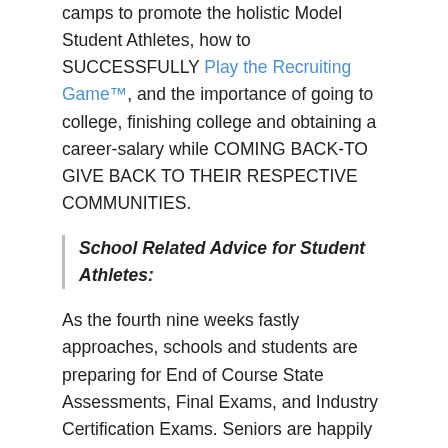camps to promote the holistic Model Student Athletes, how to SUCCESSFULLY Play the Recruiting Game™, and the importance of going to college, finishing college and obtaining a career-salary while COMING BACK-TO GIVE BACK TO THEIR RESPECTIVE COMMUNITIES.
School Related Advice for Student Athletes:
As the fourth nine weeks fastly approaches, schools and students are preparing for End of Course State Assessments, Final Exams, and Industry Certification Exams. Seniors are happily preparing for Grad Bash, Prom, and Graduation.
It's still not too late to apply for Financial Aid, SAT/ACT, College Applications. KDA's Men of Vision and Excellence Mentors and Volunteers